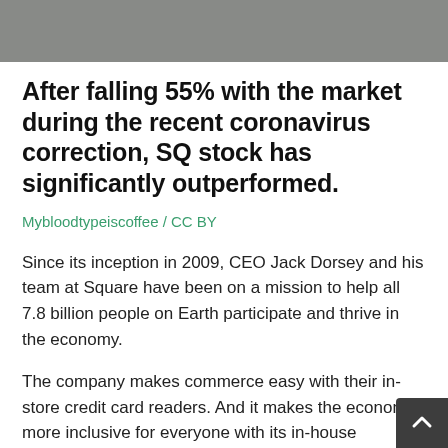[Figure (photo): Partial photo visible at top of page, appears to be a street or outdoor scene]
After falling 55% with the market during the recent coronavirus correction, SQ stock has significantly outperformed.
Mybloodtypeiscoffee / CC BY
Since its inception in 2009, CEO Jack Dorsey and his team at Square have been on a mission to help all 7.8 billion people on Earth participate and thrive in the economy.
The company makes commerce easy with their in-store credit card readers. And it makes the economy more inclusive for everyone with its in-house payments and investing platform, the Cash App – introduced in 2015.
Cash App is the fastest growing digital wallet in the U.S. just two years, from 2017 to 2019, monthly active user